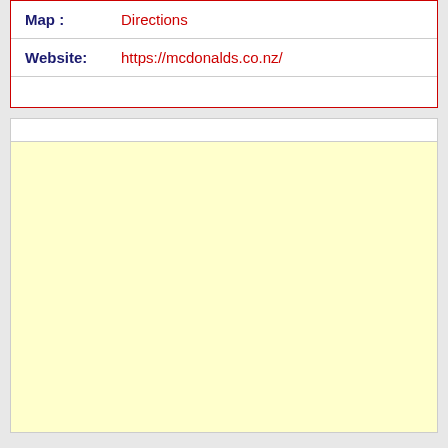Map : Directions
Website: https://mcdonalds.co.nz/
[Figure (other): A light yellow empty content area below a white header bar, inside a bordered card, representing an advertisement or map placeholder.]